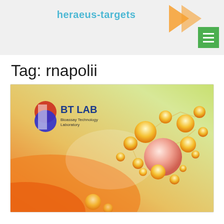[Figure (logo): heraeus-targets logo with orange arrow graphic and teal text]
Tag: rnapolii
[Figure (photo): BT LAB Bioassay Technology Laboratory product box photo with orange molecular cluster graphic on gradient background]